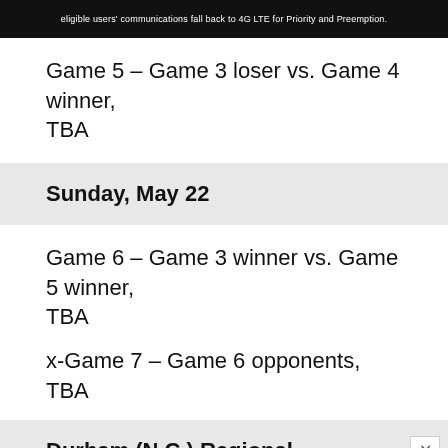[Figure (screenshot): Dark advertisement banner with white text about eligible users communications fall back to 4G LTE for Priority and Preemption]
Game 5 – Game 3 loser vs. Game 4 winner, TBA
Sunday, May 22
Game 6 – Game 3 winner vs. Game 5 winner, TBA
x-Game 7 – Game 6 opponents, TBA
Durham (N.C.) Regional
[Figure (infographic): Bottom advertisement banner: LIFE SCIENCES LEADERS in white bold text on red rounded rectangle, with colored circles and lines on left (cyan) and right (green, orange), and partial text Fri on left side]